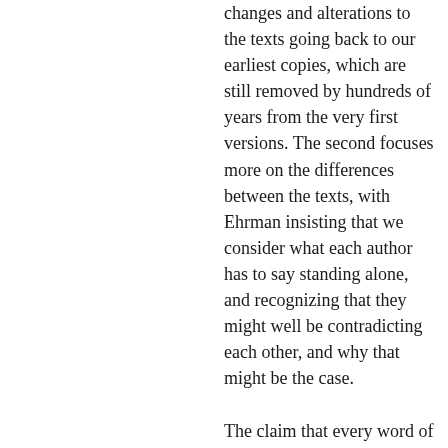changes and alterations to the texts going back to our earliest copies, which are still removed by hundreds of years from the very first versions. The second focuses more on the differences between the texts, with Ehrman insisting that we consider what each author has to say standing alone, and recognizing that they might well be contradicting each other, and why that might be the case.

The claim that every word of the Bible is correct as it sits today is not one that I was brought up with, but Ehrman presents the case – which is well recognized